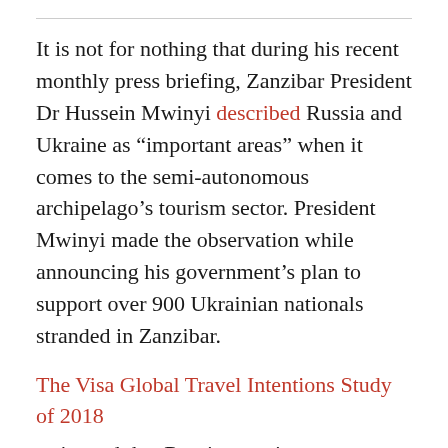It is not for nothing that during his recent monthly press briefing, Zanzibar President Dr Hussein Mwinyi described Russia and Ukraine as “important areas” when it comes to the semi-autonomous archipelago’s tourism sector. President Mwinyi made the observation while announcing his government’s plan to support over 900 Ukrainian nationals stranded in Zanzibar.
The Visa Global Travel Intentions Study of 2018
estimated that Russian tourists spent an average of $1,676 per person holiday more than Europeans who spent $1,174. The report also suggests that the average Russian tourist withdraws a total of